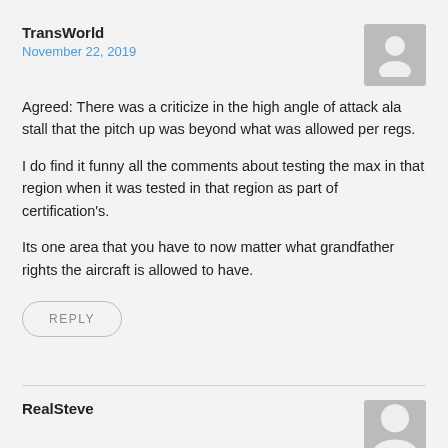TransWorld
November 22, 2019
Agreed: There was a criticize in the high angle of attack ala stall that the pitch up was beyond what was allowed per regs.
I do find it funny all the comments about testing the max in that region when it was tested in that region as part of certification's.
Its one area that you have to now matter what grandfather rights the aircraft is allowed to have.
REPLY
RealSteve